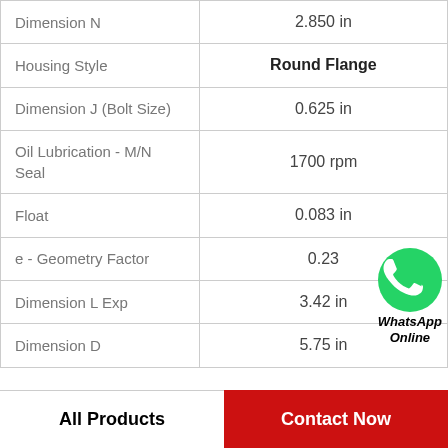| Property | Value |
| --- | --- |
| Dimension N | 2.850 in |
| Housing Style | Round Flange |
| Dimension J (Bolt Size) | 0.625 in |
| Oil Lubrication - M/N Seal | 1700 rpm |
| Float | 0.083 in |
| e - Geometry Factor | 0.23 |
| Dimension L Exp | 3.42 in |
| Dimension D | 5.75 in |
[Figure (logo): WhatsApp green circle icon with phone handset, with text 'WhatsApp Online' below]
All Products    Contact Now